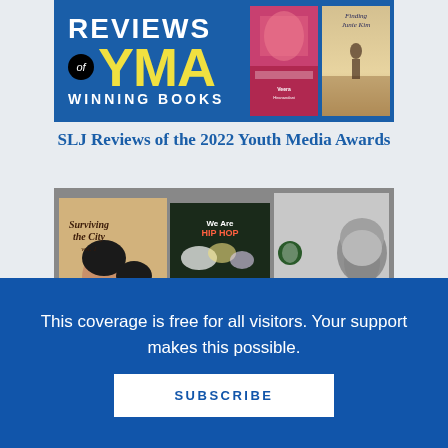[Figure (illustration): SLJ Reviews of YMA Winning Books banner with yellow YMA text on blue background, with two book covers on the right side including a colorful graphic novel and Finding Junie Kim]
SLJ Reviews of the 2022 Youth Media Awards
[Figure (photo): Three book covers displayed: Surviving the City Vol. 1 (graphic novel with two characters), We Are Hip-Hop (with illustrated train tracks), and Solitary by Albert Woodfox (black and white photo of author, with red title)]
This coverage is free for all visitors. Your support makes this possible.
SUBSCRIBE